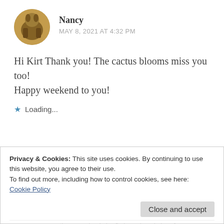[Figure (photo): Circular avatar image showing a bronze or dark-toned sculpture of two figures on horses]
Nancy
MAY 8, 2021 AT 4:32 PM
Hi Kirt Thank you! The cactus blooms miss you too!
Happy weekend to you!
Loading...
Privacy & Cookies: This site uses cookies. By continuing to use this website, you agree to their use.
To find out more, including how to control cookies, see here:
Cookie Policy
Close and accept
see them one day. I also find your knowledge of